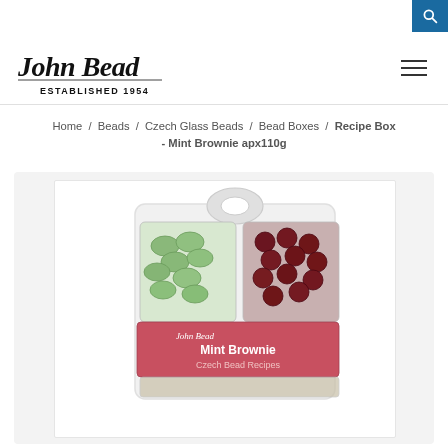John Bead - ESTABLISHED 1954 [navigation with search and menu]
Home / Beads / Czech Glass Beads / Bead Boxes / Recipe Box - Mint Brownie apx110g
[Figure (photo): Product photo of John Bead Recipe Box - Mint Brownie, showing a clear plastic divided bead box containing green mint-colored flat oval beads in one compartment and dark red/brown round beads in another, with a pink label reading 'Mint Brownie Czech Bead Recipes' and the John Bead logo.]